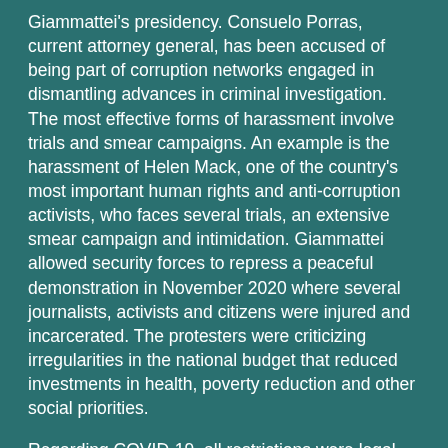Giammattei's presidency. Consuelo Porras, current attorney general, has been accused of being part of corruption networks engaged in dismantling advances in criminal investigation. The most effective forms of harassment involve trials and smear campaigns. An example is the harassment of Helen Mack, one of the country's most important human rights and anti-corruption activists, who faces several trials, an extensive smear campaign and intimidation. Giammattei allowed security forces to repress a peaceful demonstration in November 2020 where several journalists, activists and citizens were injured and incarcerated. The protesters were criticizing irregularities in the national budget that reduced investments in health, poverty reduction and other social priorities.
Regarding COVID-19, all restrictions were legal and some (for example, prohibition of largescale sport and cultural events) were reinstituted in January 2021 for a short period of time. President Giammattei has implemented several states of emergency as part of security and public health policies. The COVID-19-related lockdown prevented social organizations – especially human rights defenders – from working freely and from